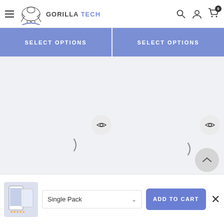Gorilla Tech navigation bar with logo, search, account, and cart icons
[Figure (screenshot): Two SELECT OPTIONS buttons side by side in blue/indigo color]
[Figure (screenshot): Two eye (quick view) icon buttons on a light grey background, with loading spinners and a back-to-top chevron button]
[Figure (screenshot): Bottom sticky bar with product thumbnail, Single Pack dropdown, ADD TO CART button, and close X button]